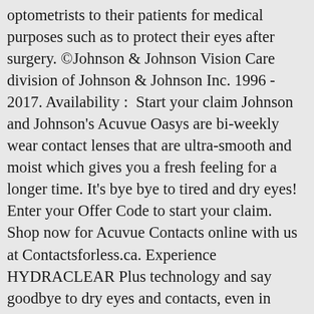optometrists to their patients for medical purposes such as to protect their eyes after surgery. ©Johnson & Johnson Vision Care division of Johnson & Johnson Inc. 1996 - 2017. Availability :  Start your claim Johnson and Johnson's Acuvue Oasys are bi-weekly wear contact lenses that are ultra-smooth and moist which gives you a fresh feeling for a longer time. It's bye bye to tired and dry eyes! Enter your Offer Code to start your claim. Shop now for Acuvue Contacts online with us at Contactsforless.ca. Experience HYDRACLEAR Plus technology and say goodbye to dry eyes and contacts, even in challenging environments. ACUVUE OASYS 1-DAY is designed with HydraLuxe Technology to keep your eyes feeling comfortable throughout the demands of your day. Copyright© 2021 perfectlens All Rights Reserved. ACUVUE® OASYS for PRESBYOPIA from Johnson & Johnson's unique optical design provide the exceptional